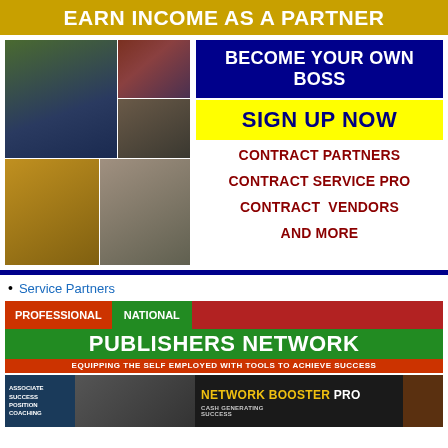EARN INCOME AS A PARTNER
[Figure (photo): Collage of people including a man in green shirt, book covers, a woman in yellow, and a couple]
BECOME YOUR OWN BOSS
SIGN UP NOW
CONTRACT PARTNERS
CONTRACT SERVICE PRO
CONTRACT  VENDORS
AND MORE
Service Partners
[Figure (logo): Professional National Publishers Network banner - EQUIPPING THE SELF EMPLOYED WITH TOOLS TO ACHIEVE SUCCESS]
[Figure (photo): Network Booster Pro banner with associate success position coaching text and person photo]